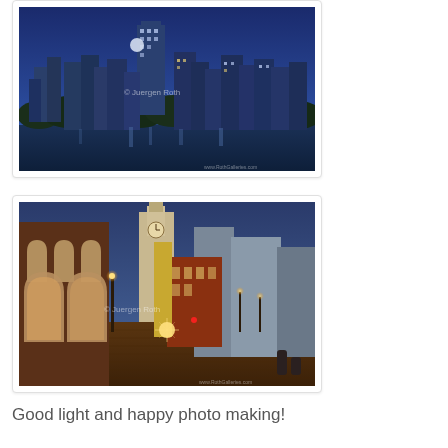[Figure (photo): Night cityscape of Boston skyline with tall buildings reflected in the Charles River, blue dusk sky, watermark reads Juergen Roth]
[Figure (photo): Evening street scene in downtown Boston showing historic Old State House building with clock tower, brick buildings, street lights, watermark reads Juergen Roth]
Good light and happy photo making!